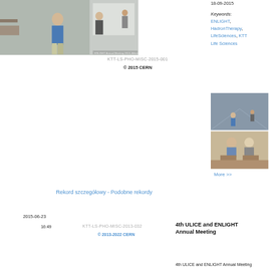[Figure (photo): Indoor conference/registration scene, person walking in blue shirt]
KTT-LS-PHO-MISC-2015-001
© 2015 CERN
18-09-2015
Keywords: ENLIGHT, HadronTherapy, LifeSciences, KTT Life Sciences
[Figure (photo): Two stacked thumbnails: top shows indoor conference scene, bottom shows two people sitting and talking]
More >>
Rekord szczegółowy - Podobne rekordy
2015-06-23
16:49
KTT-LS-PHO-MISC-2013-032
© 2013-2022 CERN
4th ULICE and ENLIGHT Annual Meeting
4th ULICE and ENLIGHT Annual Meeting 2013 in